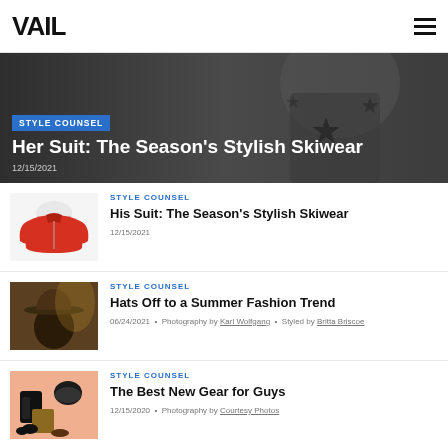VAIL
[Figure (photo): Dark hero banner with silhouette figure wearing star-patterned outfit]
STYLE COUNSEL
Her Suit: The Season’s Stylish Skiwear
12/15/2021
[Figure (photo): Red/orange puffy down jacket thumbnail]
STYLE COUNSEL
His Suit: The Season’s Stylish Skiwear
12/15/2021
[Figure (photo): Person wearing hat with golden lighting thumbnail]
STYLE COUNSEL
Hats Off to a Summer Fashion Trend
06/24/2021 • Photography by Karl Wolfgang • Styled by Britta Briscoe
[Figure (photo): Ski gear flatlay with jacket, helmet, gloves on peach background]
STYLE COUNSEL
The Best New Gear for Guys
12/15/2020 • Photography by Courtesy Photos
[Figure (photo): Partial thumbnail of colorful ski clothing]
STYLE COUNSEL